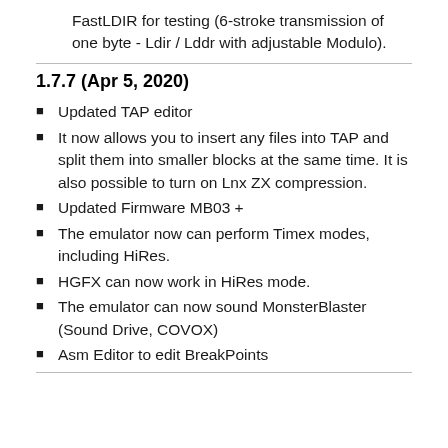FastLDIR for testing (6-stroke transmission of one byte - Ldir / Lddr with adjustable Modulo).
1.7.7 (Apr 5, 2020)
Updated TAP editor
It now allows you to insert any files into TAP and split them into smaller blocks at the same time. It is also possible to turn on Lnx ZX compression.
Updated Firmware MB03 +
The emulator now can perform Timex modes, including HiRes.
HGFX can now work in HiRes mode.
The emulator can now sound MonsterBlaster (Sound Drive, COVOX)
Asm Editor to edit BreakPoints